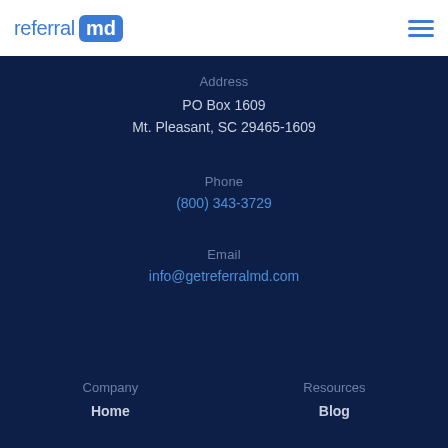[Figure (logo): referralmd logo with blue text and white 'md' on blue rounded rectangle background]
Address
PO Box 1609
Mt. Pleasant, SC 29465-1609
Phone
(800) 343-3729
Email
info@getreferralmd.com
Company
Home
Resources
Blog